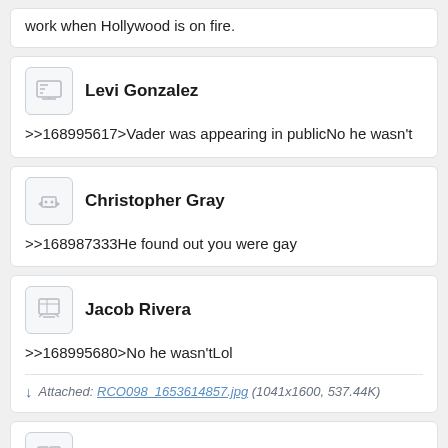work when Hollywood is on fire.
Levi Gonzalez
>>168995617>Vader was appearing in publicNo he wasn't
Christopher Gray
>>168987333He found out you were gay
Jacob Rivera
>>168995680>No he wasn'tLol
Attached: RCO098_1653614857.jpg (1041x1600, 537.44K)
Zachary Rivera
>>168995680...